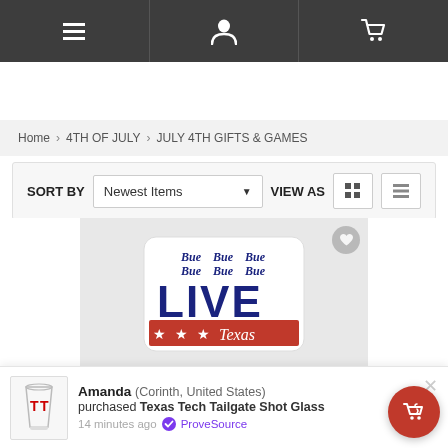Navigation bar with menu, profile, and cart icons
Home > 4TH OF JULY > JULY 4TH GIFTS & GAMES
SORT BY Newest Items VIEW AS
[Figure (photo): Live Texas patriotic patch/sticker product image on gray background, showing the word LIVE in large dark letters above a Texas flag with stars and 'Texas' script, topped with small 'Bue' script text repeated six times.]
Amanda (Corinth, United States) purchased Texas Tech Tailgate Shot Glass 14 minutes ago ProveSource